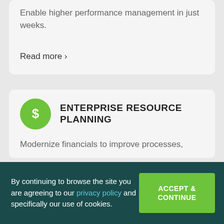Enable higher performance management in just weeks.
Read more ›
Enterprise Resource Planning
Modernize financials to improve processes,
By continuing to browse the site you are agreeing to our privacy policy and specifically our use of cookies.
ACCEPT & CONTINUE